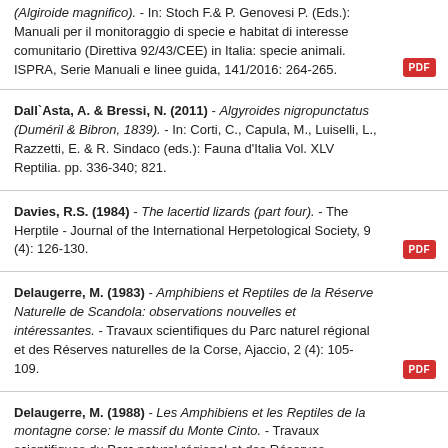(Algiroide magnifico). - In: Stoch F.& P. Genovesi P. (Eds.): Manuali per il monitoraggio di specie e habitat di interesse comunitario (Direttiva 92/43/CEE) in Italia: specie animali. ISPRA, Serie Manuali e linee guida, 141/2016: 264-265.
Dall`Asta, A. & Bressi, N. (2011) - Algyroides nigropunctatus (Duméril & Bibron, 1839). - In: Corti, C., Capula, M., Luiselli, L., Razzetti, E. & R. Sindaco (eds.): Fauna d'Italia Vol. XLV Reptilia. pp. 336-340; 821.
Davies, R.S. (1984) - The lacertid lizards (part four). - The Herptile - Journal of the International Herpetological Society, 9 (4): 126-130.
Delaugerre, M. (1983) - Amphibiens et Reptiles de la Réserve Naturelle de Scandola: observations nouvelles et intéressantes. - Travaux scientifiques du Parc naturel régional et des Réserves naturelles de la Corse, Ajaccio, 2 (4): 105-109.
Delaugerre, M. (1988) - Les Amphibiens et les Reptiles de la montagne corse: le massif du Monte Cinto. - Travaux scientifiques du Parc naturel régional et des Réserves naturelles de la Corse, Ajaccio, 14: 1-29.